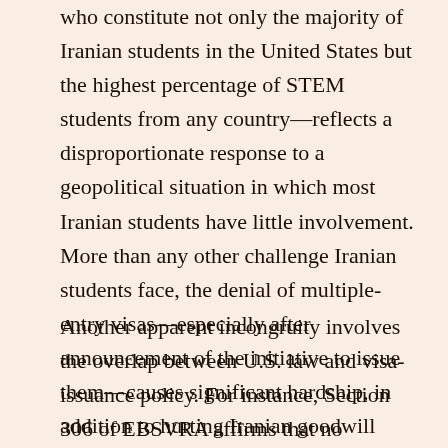who constitute not only the majority of Iranian students in the United States but the highest percentage of STEM students from any country—reflects a disproportionate response to a geopolitical situation in which most Iranian students have little involvement. More than any other challenge Iranian students face, the denial of multiple-entry visas—especially after announcement of the initiative to issue them—causes significant hardship, in addition to hurting Iranian goodwill toward the United States.
Another apparent incongruity involves the overlap between U.S. law and visa-issuance policy. For instance, Section 306 of EBSVRA affirms that no individual from a state